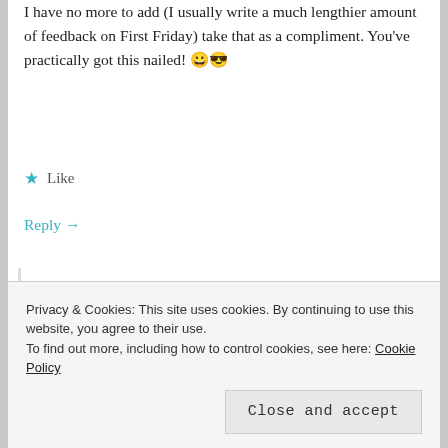I have no more to add (I usually write a much lengthier amount of feedback on First Friday) take that as a compliment. You've practically got this nailed! 😀😎
★ Like
Reply →
SARAH
May 5, 2017 at 11:59 pm
Wow, thank you so much!! I really appreciate the feedback. 😊
Privacy & Cookies: This site uses cookies. By continuing to use this website, you agree to their use.
To find out more, including how to control cookies, see here: Cookie Policy
Close and accept